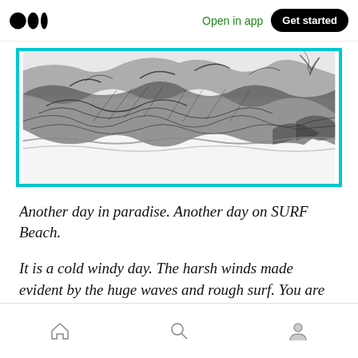Open in app  Get started
[Figure (illustration): Black and white illustration of large ocean waves crashing, with detailed cross-hatching style artwork, framed with a teal/cyan border]
Another day in paradise. Another day on SURF Beach.
It is a cold windy day. The harsh winds made evident by the huge waves and rough surf. You are however comfy. Wrapped in a warm blanket, you stare off into the horizon. Not a day for surfing, you think to yourself as you see a huge wave come rushing in to the shore
Home  Search  Profile